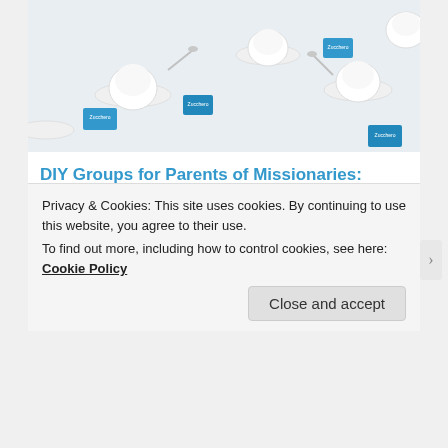[Figure (photo): Overhead view of white espresso cups on saucers with blue sugar packets labeled 'Zucchero']
DIY Groups for Parents of Missionaries: Advice from the Experts
In "missionaries"
[Figure (photo): Sunset sky with warm orange and golden clouds]
Privacy & Cookies: This site uses cookies. By continuing to use this website, you agree to their use.
To find out more, including how to control cookies, see here: Cookie Policy
Close and accept